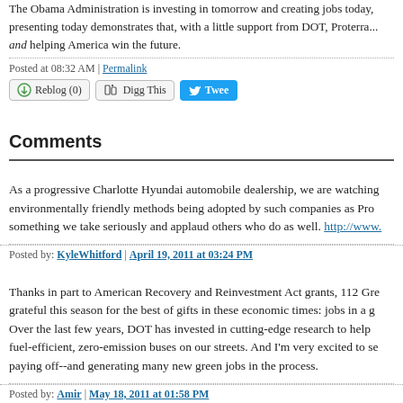The Obama Administration is investing in tomorrow and creating jobs today, presenting today demonstrates that, with a little support from DOT, Proterra... and helping America win the future.
Posted at 08:32 AM | Permalink
Reblog (0) | Digg This | Tweet
Comments
As a progressive Charlotte Hyundai automobile dealership, we are watching environmentally friendly methods being adopted by such companies as Pro something we take seriously and applaud others who do as well. http://www...
Posted by: KyleWhitford | April 19, 2011 at 03:24 PM
Thanks in part to American Recovery and Reinvestment Act grants, 112 Gre grateful this season for the best of gifts in these economic times: jobs in a g Over the last few years, DOT has invested in cutting-edge research to help fuel-efficient, zero-emission buses on our streets. And I'm very excited to se paying off--and generating many new green jobs in the process.
Posted by: Amir | May 18, 2011 at 01:58 PM